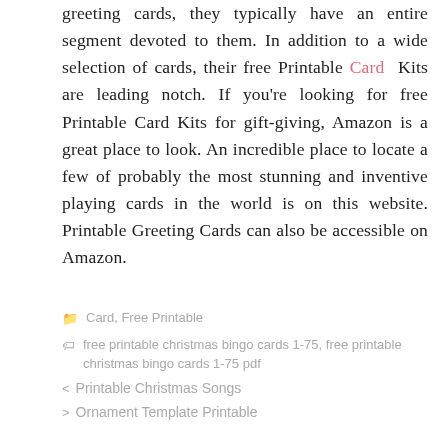greeting cards, they typically have an entire segment devoted to them. In addition to a wide selection of cards, their free Printable Card Kits are leading notch. If you're looking for free Printable Card Kits for gift-giving, Amazon is a great place to look. An incredible place to locate a few of probably the most stunning and inventive playing cards in the world is on this website. Printable Greeting Cards can also be accessible on Amazon.
Card, Free Printable
free printable christmas bingo cards 1-75, free printable christmas bingo cards 1-75 pdf
Printable Christmas Songs
Ornament Template Printable